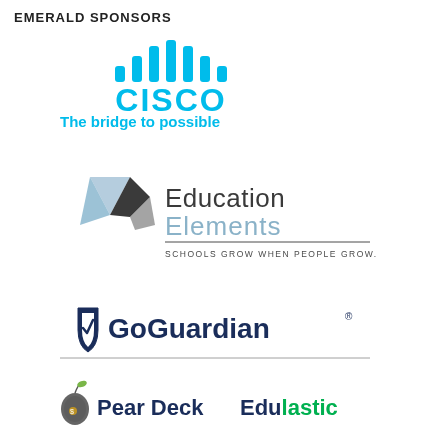EMERALD SPONSORS
[Figure (logo): Cisco logo with signal bars icon above the word CISCO in cyan blue, with tagline 'The bridge to possible' below in cyan]
[Figure (logo): Education Elements logo with geometric arrow/diamond shapes in steel blue and dark grey, text 'Education Elements' and tagline 'SCHOOLS GROW WHEN PEOPLE GROW.']
[Figure (logo): GoGuardian logo with shield icon in navy blue, text 'GoGuardian' with registered trademark symbol]
[Figure (logo): Pear Deck logo with pear icon and 'Pear Deck' text in dark navy, and Edulastic logo in green text]